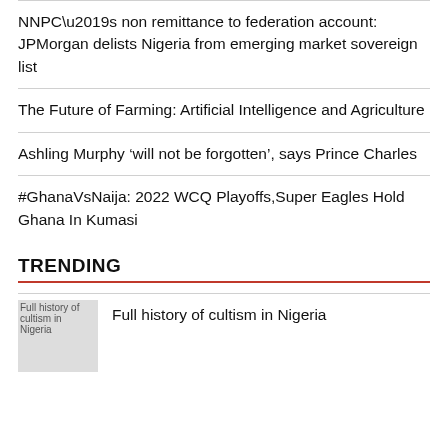NNPC’s non remittance to federation account: JPMorgan delists Nigeria from emerging market sovereign list
The Future of Farming: Artificial Intelligence and Agriculture
Ashling Murphy ‘will not be forgotten’, says Prince Charles
#GhanaVsNaija: 2022 WCQ Playoffs,Super Eagles Hold Ghana In Kumasi
TRENDING
Full history of cultism in Nigeria